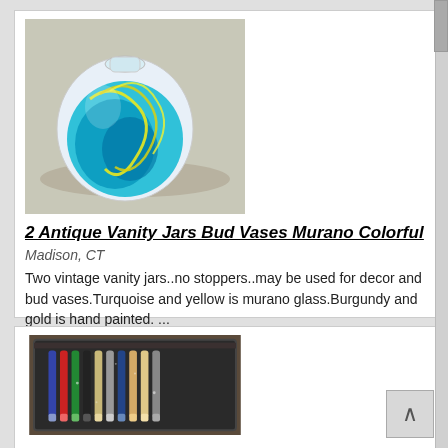[Figure (photo): Photo of two colorful Murano glass vanity jars/bud vases with turquoise and yellow swirl design on a light background]
2 Antique Vanity Jars Bud Vases Murano Colorful
Madison, CT
Two vintage vanity jars..no stoppers..may be used for decor and bud vases.Turquoise and yellow is murano glass.Burgundy and gold is hand painted. ...
more
1 @ $89.00
[Figure (photo): Photo of a set of pens/pencils arranged in a dark tray or box]